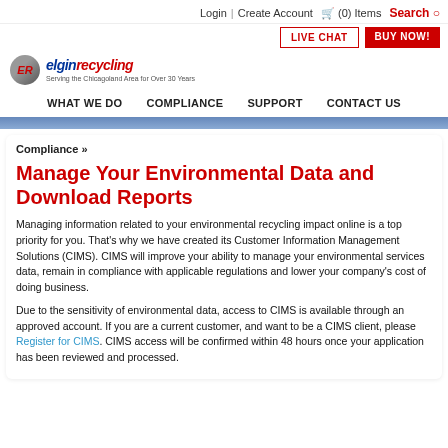Login | Create Account  (0) Items  Search
[Figure (logo): Elgin Recycling logo with ER icon and tagline Serving the Chicagoland Area for Over 30 Years]
WHAT WE DO  COMPLIANCE  SUPPORT  CONTACT US
Compliance »
Manage Your Environmental Data and Download Reports
Managing information related to your environmental recycling impact online is a top priority for you. That's why we have created its Customer Information Management Solutions (CIMS). CIMS will improve your ability to manage your environmental services data, remain in compliance with applicable regulations and lower your company's cost of doing business.
Due to the sensitivity of environmental data, access to CIMS is available through an approved account. If you are a current customer, and want to be a CIMS client, please Register for CIMS. CIMS access will be confirmed within 48 hours once your application has been reviewed and processed.